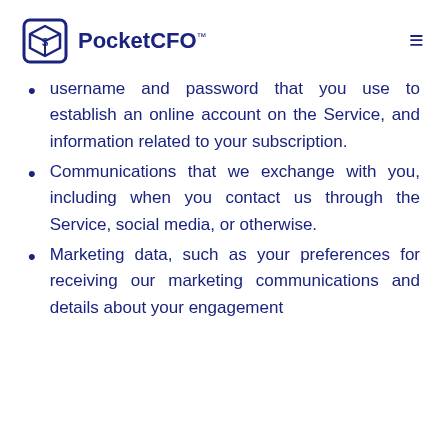PocketCFO™
username and password that you use to establish an online account on the Service, and information related to your subscription.
Communications that we exchange with you, including when you contact us through the Service, social media, or otherwise.
Marketing data, such as your preferences for receiving our marketing communications and details about your engagement